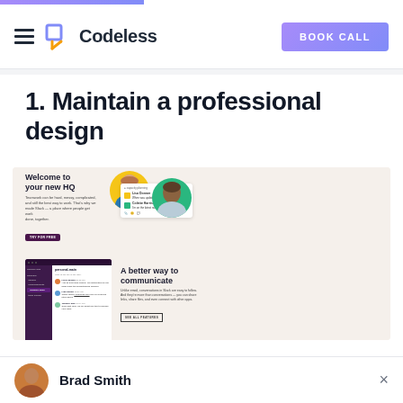Codeless — BOOK CALL
1. Maintain a professional design
[Figure (screenshot): Screenshot of Slack website showing 'Welcome to your new HQ' hero section and 'A better way to communicate' feature section with chat UI mockup]
Brad Smith ×